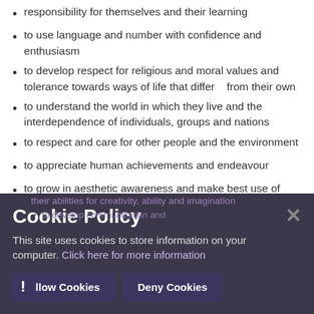responsibility for themselves and their learning
to use language and number with confidence and enthusiasm
to develop respect for religious and moral values and tolerance towards ways of life that differ   from their own
to understand the world in which they live and the interdependence of individuals, groups and nations
to respect and care for other people and the environment
to appreciate human achievements and endeavour
to grow in aesthetic awareness and make best use of
[Figure (screenshot): Cookie Policy overlay banner with title 'Cookie Policy', description text 'This site uses cookies to store information on your computer. Click here for more information', and two buttons: 'Allow Cookies' and 'Deny Cookies'. A close X button is top right and an exclamation icon is bottom left.]